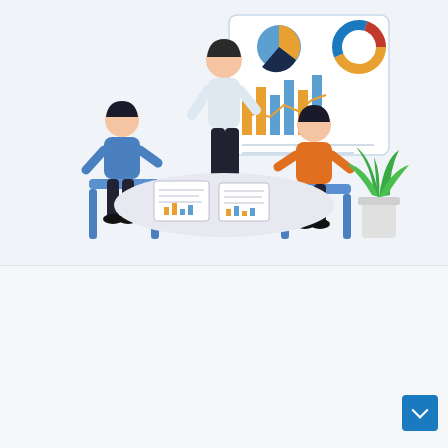[Figure (illustration): Isometric illustration of three business people in a meeting around a table. One person stands and points to a presentation screen showing bar charts, pie/donut charts, and line graphs. Two others are seated reviewing documents. A potted plant is in the background right. Color scheme: blue chairs, orange sweater on one figure, white shirt on standing figure.]
Power supply
External AC-DC Power Supply Market Analysis, Key Company Profiles, Types, Applications and Forecast to 2022-2030